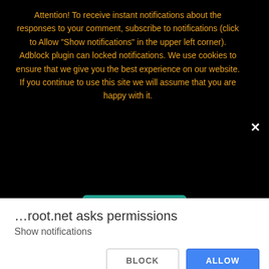Attention! To receive instant notifications about the responses to your comment, subscribe to notifications (click to Allow "Show notifications" in the upper left corner). Adblock plugin can locked notifications. We use cookies to ensure that we give you the best experience on our website. If you continue to use this site we will assume that you are happy with it.
[Figure (screenshot): A teal/green 'Ok, good' button on the black notification banner]
2. ZYKURoot – similar to the first program in functionality, the last version 2.5 (at the time of writing);
[Figure (screenshot): ZYKUroot v 2.5 2019 application window with a green snake logo on white background]
…root.net asks permissions
Show notifications
[Figure (screenshot): Browser permission dialog with BLOCK and ALLOW buttons at the bottom]